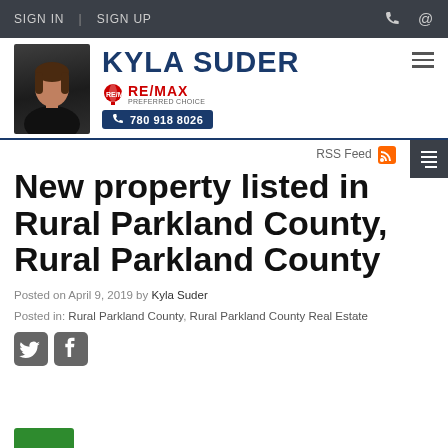SIGN IN | SIGN UP
[Figure (logo): Kyla Suder RE/MAX Preferred Choice real estate agent header banner with photo, name, logo and phone number 780 918 8026]
RSS Feed
New property listed in Rural Parkland County, Rural Parkland County
Posted on April 9, 2019 by Kyla Suder
Posted in: Rural Parkland County, Rural Parkland County Real Estate